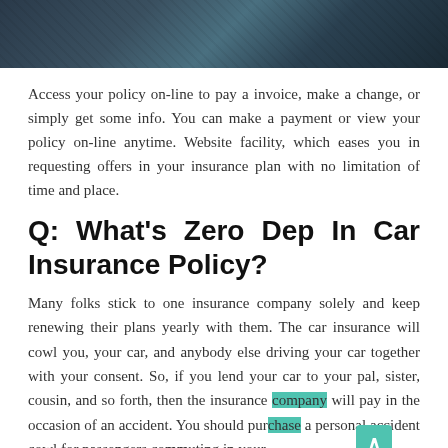[Figure (photo): Dark photo strip showing close-up of jeans/denim fabric with dark teal tones, partially visible at top of page]
Access your policy on-line to pay a invoice, make a change, or simply get some info. You can make a payment or view your policy on-line anytime. Website facility, which eases you in requesting offers in your insurance plan with no limitation of time and place.
Q: What's Zero Dep In Car Insurance Policy?
Many folks stick to one insurance company solely and keep renewing their plans yearly with them. The car insurance will cowl you, your car, and anybody else driving your car together with your consent. So, if you lend your car to your pal, sister, cousin, and so forth, then the insurance company will pay in the occasion of an accident. You should purchase a personal accident cowl for passengers commuting in your